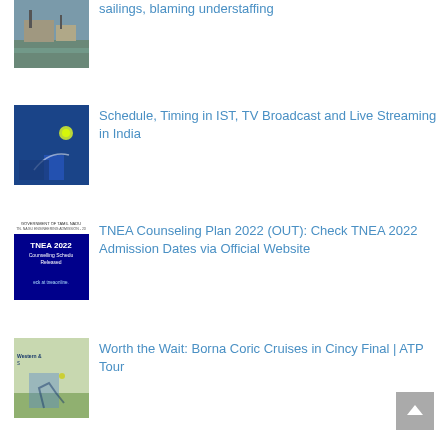[Figure (photo): Thumbnail of boats/waterway scene]
sailings, blaming understaffing
[Figure (photo): Thumbnail of a tennis player on blue court reaching for a shot]
Schedule, Timing in IST, TV Broadcast and Live Streaming in India
[Figure (photo): TNEA 2022 Counselling Schedule Released - check at tneaonline.]
TNEA Counseling Plan 2022 (OUT): Check TNEA 2022 Admission Dates via Official Website
[Figure (photo): Thumbnail of a tennis player (Borna Coric) on court with Western & Southern branding]
Worth the Wait: Borna Coric Cruises in Cincy Final | ATP Tour